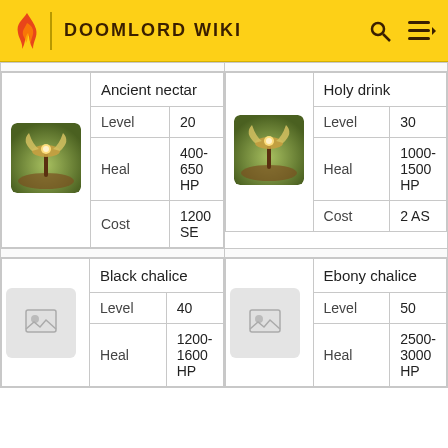DOOMLORD WIKI
| Image | Property | Value | Image | Property | Value |
| --- | --- | --- | --- | --- | --- |
| [Ancient nectar image] | Level | 20 | [Holy drink image] | Level | 30 |
|  | Heal | 400-650 HP |  | Heal | 1000-1500 HP |
|  | Cost | 1200 SE |  | Cost | 2 AS |
| [Black chalice image] | Level | 40 | [Ebony chalice image] | Level | 50 |
|  | Heal | 1200-1600 HP |  | Heal | 2500-3000 HP |